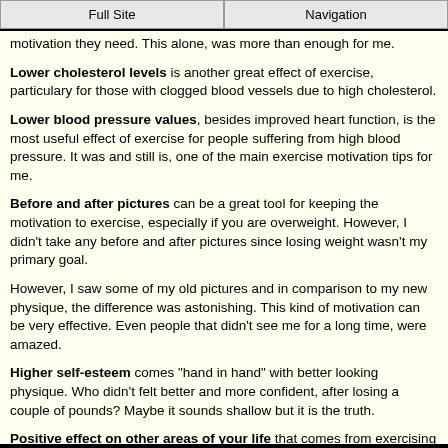Full Site | Navigation
motivation they need. This alone, was more than enough for me.
Lower cholesterol levels is another great effect of exercise, particulary for those with clogged blood vessels due to high cholesterol.
Lower blood pressure values, besides improved heart function, is the most useful effect of exercise for people suffering from high blood pressure. It was and still is, one of the main exercise motivation tips for me.
Before and after pictures can be a great tool for keeping the motivation to exercise, especially if you are overweight. However, I didn't take any before and after pictures since losing weight wasn't my primary goal.
However, I saw some of my old pictures and in comparison to my new physique, the difference was astonishing. This kind of motivation can be very effective. Even people that didn't see me for a long time, were amazed.
Higher self-esteem comes "hand in hand" with better looking physique. Who didn't felt better and more confident, after losing a couple of pounds? Maybe it sounds shallow but it is the truth.
Positive effect on other areas of your life that comes from exercising regulary along with healthy diet. Dedication and hard work reflects on to other aspects of life such as work, socializing, health and mental well-